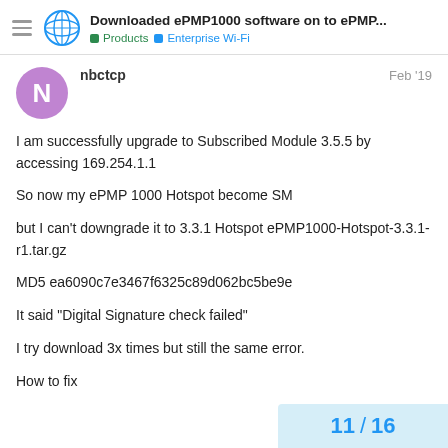Downloaded ePMP1000 software on to ePMP... | Products > Enterprise Wi-Fi
nbctcp
Feb '19
I am successfully upgrade to Subscribed Module 3.5.5 by accessing 169.254.1.1

So now my ePMP 1000 Hotspot become SM

but I can't downgrade it to 3.3.1 Hotspot ePMP1000-Hotspot-3.3.1-r1.tar.gz

MD5 ea6090c7e3467f6325c89d062bc5be9e

It said "Digital Signature check failed"

I try download 3x times but still the same error.

How to fix
11 / 16